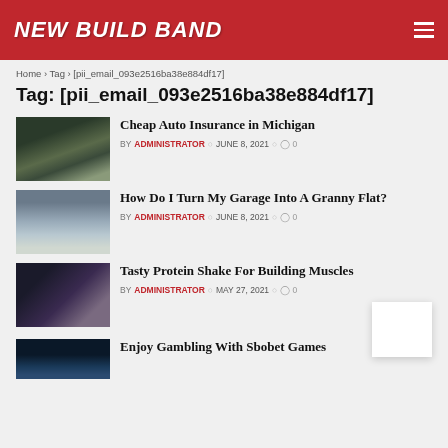NEW BUILD BAND
Home › Tag › [pii_email_093e2516ba38e884df17]
Tag: [pii_email_093e2516ba38e884df17]
[Figure (photo): Car interior dashboard view through windshield on highway]
Cheap Auto Insurance in Michigan
BY ADMINISTRATOR  JUNE 8, 2021  0
[Figure (photo): Open garage converted into living space with furniture visible]
How Do I Turn My Garage Into A Granny Flat?
BY ADMINISTRATOR  JUNE 8, 2021  0
[Figure (photo): Person holding protein shake container]
Tasty Protein Shake For Building Muscles
BY ADMINISTRATOR  MAY 27, 2021  0
[Figure (photo): Gambling/gaming themed image]
Enjoy Gambling With Sbobet Games